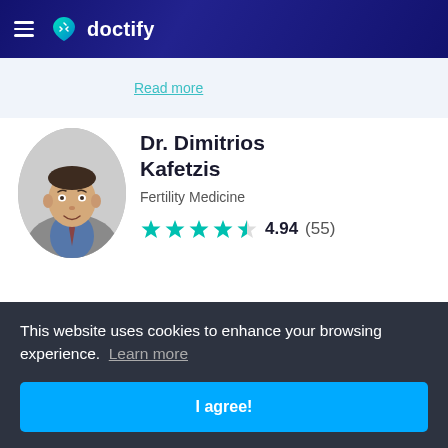doctify
Read more
Dr. Dimitrios Kafetzis
Fertility Medicine
4.94 (55)
4016 Block E, Building # 64 Street # 15,
This website uses cookies to enhance your browsing experience. Learn more
I agree!